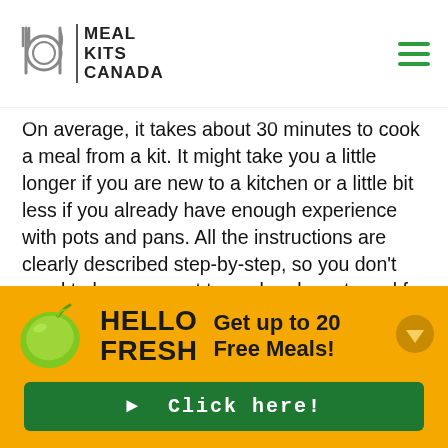[Figure (logo): Meal Kits Canada logo with fork, plate, and knife icon next to bold text reading MEAL KITS CANADA]
On average, it takes about 30 minutes to cook a meal from a kit. It might take you a little longer if you are new to a kitchen or a little bit less if you already have enough experience with pots and pans. All the instructions are clearly described step-by-step, so you don't need to be an expert to cook a decent meal for yourself and your loved ones. The majority of meal kit companies in Vancouver will let you order up to five recipes a week for up to six people, with a minimum order of two recipes per week for two people.
We hope our Vancouver meal kit reviews will help you find the
[Figure (infographic): HelloFresh advertisement banner on orange/yellow background. Lime icon on left, HELLO FRESH bold text, Get up to 20 Free Meals! promo text, down arrow, and green Click here! button.]